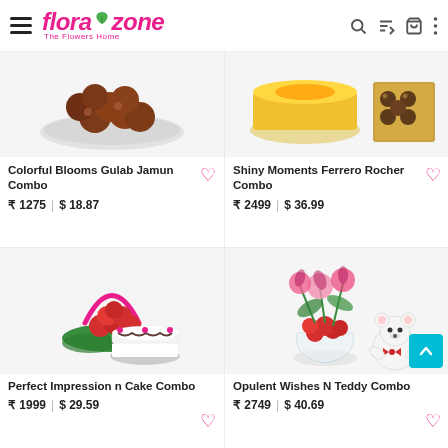flora zone - The Flowers Home
[Figure (photo): Top portion of Colorful Blooms Gulab Jamun Combo product image - shows gulab jamun sweets on a plate]
[Figure (photo): Top portion of Shiny Moments Ferrero Rocher Combo product image - shows mango cake and Ferrero Rocher chocolates]
Colorful Blooms Gulab Jamun Combo
₹ 1275 | $ 18.87
Shiny Moments Ferrero Rocher Combo
₹ 2499 | $ 36.99
[Figure (photo): Perfect Impression n Cake Combo - flower basket with red carnations and a black forest cake]
[Figure (photo): Opulent Wishes N Teddy Combo - floral arrangement with pink lilies, red flowers in glass vase, and white teddy bear]
Perfect Impression n Cake Combo
₹ 1999 | $ 29.59
Opulent Wishes N Teddy Combo
₹ 2749 | $ 40.69